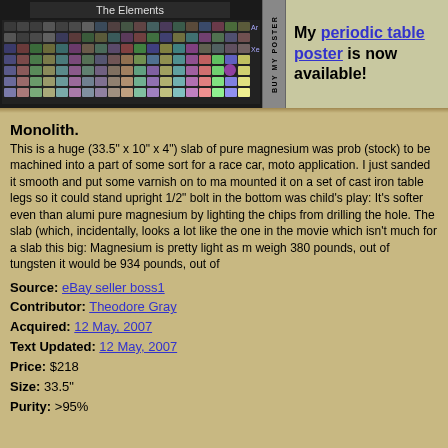[Figure (photo): Periodic table poster showing photos of elements, titled 'The Elements']
BUY MY POSTER
My periodic table poster is now available!
Monolith.
This is a huge (33.5" x 10" x 4") slab of pure magnesium was prob (stock) to be machined into a part of some sort for a race car, moto application. I just sanded it smooth and put some varnish on to ma mounted it on a set of cast iron table legs so it could stand upright 1/2" bolt in the bottom was child's play: It's softer even than alumi pure magnesium by lighting the chips from drilling the hole. The slab (which, incidentally, looks a lot like the one in the movie which isn't much for a slab this big: Magnesium is pretty light as m weigh 380 pounds, out of tungsten it would be 934 pounds, out of
Source: eBay seller boss1
Contributor: Theodore Gray
Acquired: 12 May, 2007
Text Updated: 12 May, 2007
Price: $218
Size: 33.5"
Purity: >95%